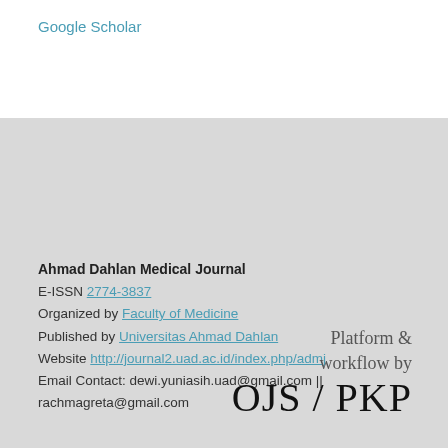Google Scholar
Ahmad Dahlan Medical Journal
E-ISSN 2774-3837
Organized by Faculty of Medicine
Published by Universitas Ahmad Dahlan
Website http://journal2.uad.ac.id/index.php/admj
Email Contact: dewi.yuniasih.uad@gmail.com || rachmagreta@gmail.com
Platform & workflow by OJS / PKP